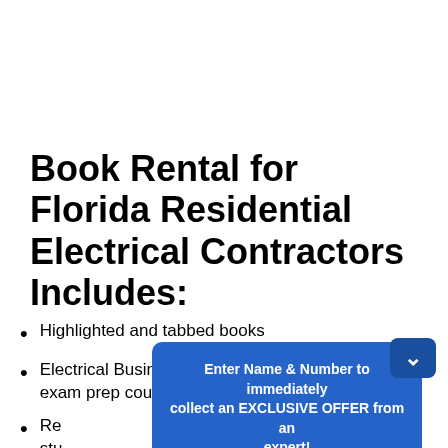Book Rental for Florida Residential Electrical Contractors Includes:
Highlighted and tabbed books
Electrical Business online self-paced home study exam prep course
Residential [online self-paced] home study [exam prep course]
6 m[onths access]
6 m[onths access]
[Figure (other): A blue popup dialog box overlaying the page content, with text 'Enter Name & Number to immediately collect an EXCLUSIVE OFFER from an expert!' and a green 'Reply' button. A dark blue arrow/chevron button appears at the top right of the popup.]